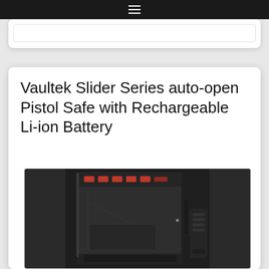☰ (hamburger menu icon)
Vaultek Slider Series auto-open Pistol Safe with Rechargeable Li-ion Battery
[Figure (photo): Product photo of the Vaultek Slider Series pistol safe, shown in matte black with red LED keypad buttons on top, an open drawer/tray mechanism, and an accessory panel to the right.]